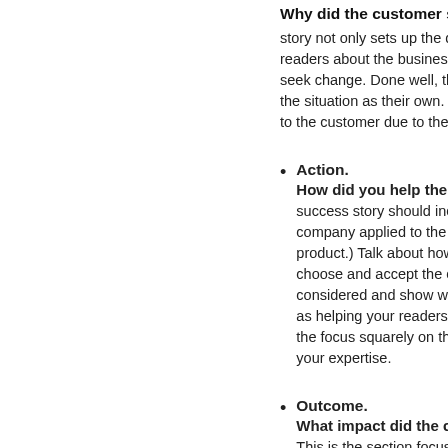Why did the customer seek o...
story not only sets up the descr... readers about the business prob... seek change. Done well, this all... the situation as their own. Don't... to the customer due to the persi...
Action. How did you help the custome... success story should include an... company applied to the custome... product.) Talk about how you wo... choose and accept the change. ... considered and show why they ... as helping your readers evaluate... the focus squarely on the custo... your expertise.
Outcome. What impact did the change h... This is the section focused on s... business outcomes change afte...